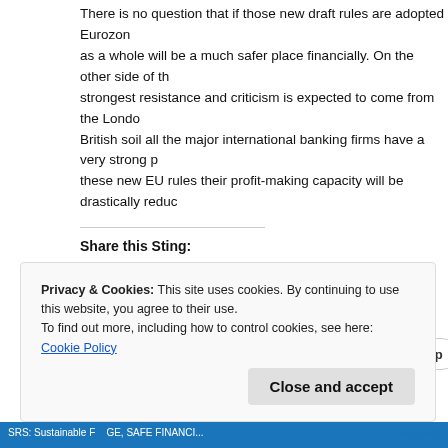There is no question that if those new draft rules are adopted Eurozone as a whole will be a much safer place financially. On the other side of the strongest resistance and criticism is expected to come from the London British soil all the major international banking firms have a very strong p these new EU rules their profit-making capacity will be drastically reduc
Share this Sting:
[Figure (screenshot): Social sharing buttons: Tweet (Twitter/blue), Share (LinkedIn/blue), Save (Pinterest/red), Post (Tumblr/dark), Email, Print, Pocket with count 0, Telegram, WhatsApp]
Privacy & Cookies: This site uses cookies. By continuing to use this website, you agree to their use.
To find out more, including how to control cookies, see here: Cookie Policy
Close and accept